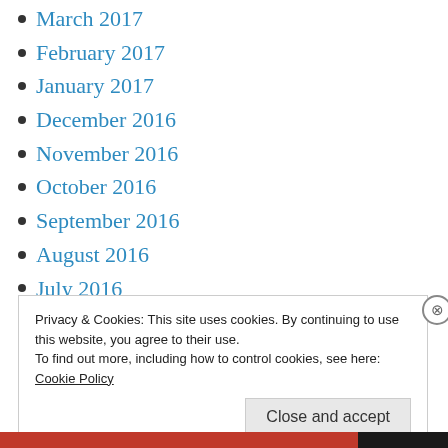March 2017
February 2017
January 2017
December 2016
November 2016
October 2016
September 2016
August 2016
July 2016
June 2016
Privacy & Cookies: This site uses cookies. By continuing to use this website, you agree to their use.
To find out more, including how to control cookies, see here:
Cookie Policy
Close and accept